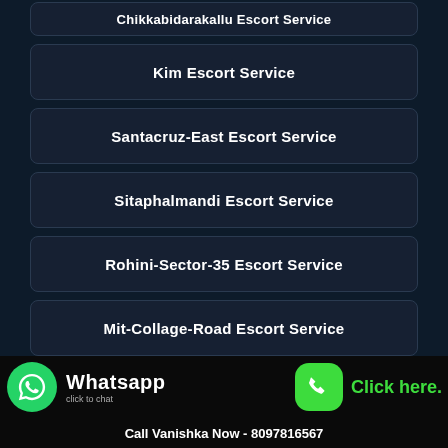Chikkabidarakallu Escort Service
Kim Escort Service
Santacruz-East Escort Service
Sitaphalmandi Escort Service
Rohini-Sector-35 Escort Service
Mit-Collage-Road Escort Service
Bhavani-Nagar Escort Service
Vijaywada Escort Service
Call Vanishka Now - 8097816567
WhatsApp To Vanishka - 8097816567